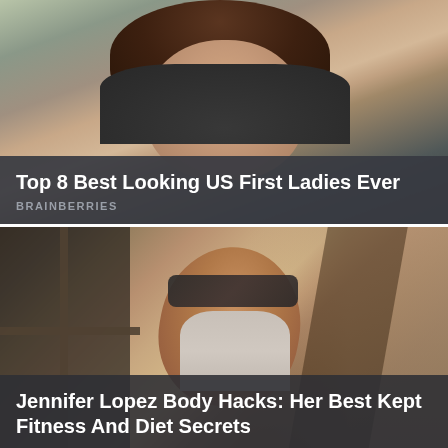[Figure (photo): Photo of a smiling woman with short dark brown hair, wearing dark clothing, photographed outdoors]
Top 8 Best Looking US First Ladies Ever
BRAINBERRIES
[Figure (photo): Photo of a woman wearing sunglasses and a light halter top, tilting her head back in sunlight]
Jennifer Lopez Body Hacks: Her Best Kept Fitness And Diet Secrets